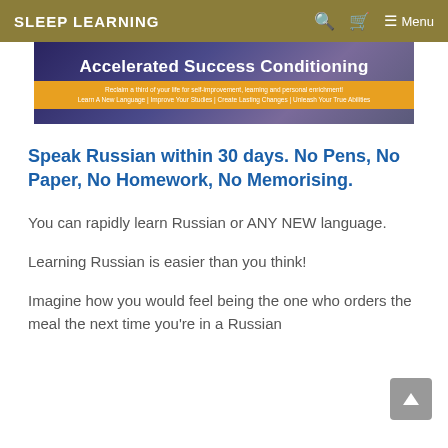SLEEP LEARNING  Menu
[Figure (illustration): Banner image for Sleep Learning website showing 'Accelerated Success Conditioning' with subtitle text about learning a new language, improving studies, creating lasting changes, and unleashing true abilities. Dark blue/purple gradient background with orange strip at bottom.]
Speak Russian within 30 days. No Pens, No Paper, No Homework, No Memorising.
You can rapidly learn Russian or ANY NEW language.
Learning Russian is easier than you think!
Imagine how you would feel being the one who orders the meal the next time you're in a Russian